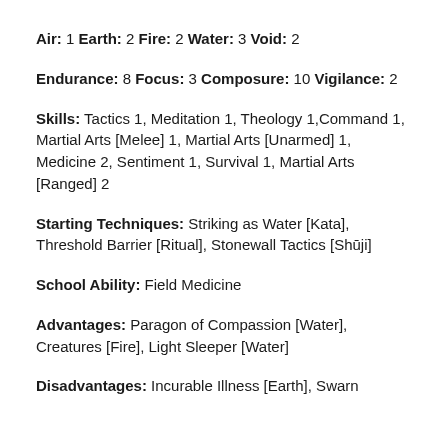Air: 1 Earth: 2 Fire: 2 Water: 3 Void: 2
Endurance: 8 Focus: 3 Composure: 10 Vigilance: 2
Skills: Tactics 1, Meditation 1, Theology 1,Command 1, Martial Arts [Melee] 1, Martial Arts [Unarmed] 1, Medicine 2, Sentiment 1, Survival 1, Martial Arts [Ranged] 2
Starting Techniques: Striking as Water [Kata], Threshold Barrier [Ritual], Stonewall Tactics [Shūji]
School Ability: Field Medicine
Advantages: Paragon of Compassion [Water], Creatures [Fire], Light Sleeper [Water]
Disadvantages: Incurable Illness [Earth], Swarn…